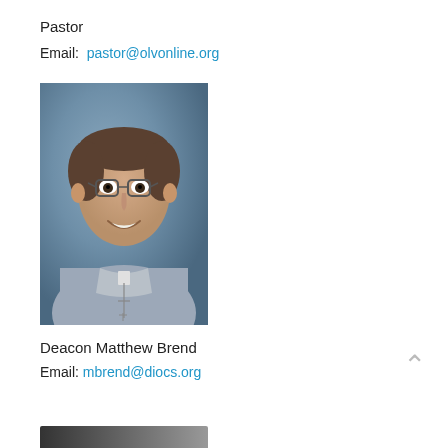Pastor
Email:  pastor@olvonline.org
[Figure (photo): Portrait photo of Deacon Matthew Brend, a man wearing glasses and clerical collar with a cross necklace, smiling, against a blue-grey background.]
Deacon Matthew Brend
Email: mbrend@diocs.org